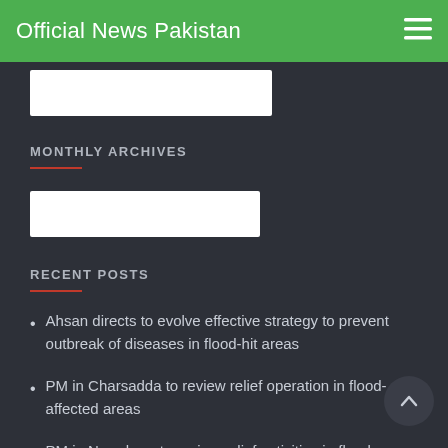Official News Pakistan
[Figure (other): White search input box (partially visible at top)]
MONTHLY ARCHIVES
[Figure (other): White dropdown/select input box for monthly archives]
RECENT POSTS
Ahsan directs to evolve effective strategy to prevent outbreak of diseases in flood-hit areas
PM in Charsadda to review relief operation in flood-affected areas
PM in Nowshera to review relief activities in flood-affected